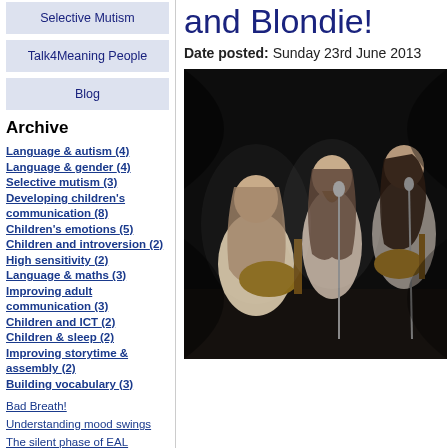Selective Mutism
Talk4Meaning People
Blog
Archive
Language & autism (4)
Language & gender (4)
Selective mutism (3)
Developing children's communication (8)
Children's emotions (5)
Children and introversion (2)
High sensitivity (2)
Language & maths (3)
Improving adult communication (3)
Children and ICT (2)
Children & sleep (2)
Improving storytime & assembly (2)
Building vocabulary (3)
Bad Breath!
Understanding mood swings
The silent phase of EAL
Idioms
Overcoming stage fright
Food poverty/language poverty
Children and trains
Twins!
and Blondie!
Date posted: Sunday 23rd June 2013
[Figure (photo): Black and white concert photo of three musicians performing on stage with acoustic guitars and microphones, with long hair, in a 1970s style performance setting.]